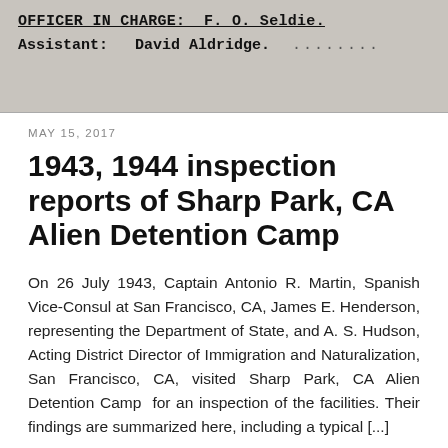[Figure (photo): Scanned document header showing 'OFFICER IN CHARGE: F. O. Seldie.' and 'Assistant: David Aldridge.' in typewriter font on aged paper background]
MAY 15, 2017
1943, 1944 inspection reports of Sharp Park, CA Alien Detention Camp
On 26 July 1943, Captain Antonio R. Martin, Spanish Vice-Consul at San Francisco, CA, James E. Henderson, representing the Department of State, and A. S. Hudson, Acting District Director of Immigration and Naturalization, San Francisco, CA, visited Sharp Park, CA Alien Detention Camp  for an inspection of the facilities. Their findings are summarized here, including a typical [...]